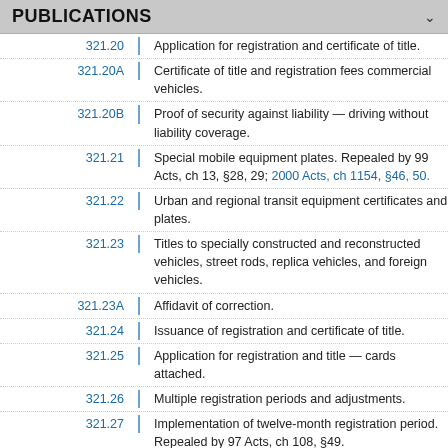PUBLICATIONS
321.20 — Application for registration and certificate of title.
321.20A — Certificate of title and registration fees commercial vehicles.
321.20B — Proof of security against liability — driving without liability coverage.
321.21 — Special mobile equipment plates. Repealed by 99 Acts, ch 13, §28, 29; 2000 Acts, ch 1154, §46, 50.
321.22 — Urban and regional transit equipment certificates and plates.
321.23 — Titles to specially constructed and reconstructed vehicles, street rods, replica vehicles, and foreign vehicles.
321.23A — Affidavit of correction.
321.24 — Issuance of registration and certificate of title.
321.25 — Application for registration and title — cards attached.
321.26 — Multiple registration periods and adjustments.
321.27 — Implementation of twelve-month registration period. Repealed by 97 Acts, ch 108, §49.
321.28 — Failure to register.
321.29 — Renewal not permitted.
321.30 — Grounds for refusing registration or title.
321.31 — Records system.
321.32 — Registration card carried and exhibited exception.
321.33 — Exception. Repealed by 2010 Acts, ch 1069, §140.
321.34 — Plates or validation sticker furnished — retained by owner — special plates.